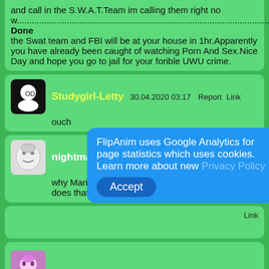and call in the S.W.A.T.Team im calling them right now.............................................................................................................................................................................................................................................................................................................................................................................Done the Swat team and FBI will be at your house in 1hr.Apparently you have already been caught of watching Porn And Sex.Nice Day and hope you go to jail for your forible UWU crime.
Studygirl-Letty 30.04.2020 03:17 Report Link ouch
nightmaresan66 07.05.2020 09:30 Report Link why Mario well u are not the only one I know how does that to Mario
FlipAnim uses Google Analytics for page statistics which uses cookies. Learn more about new Privacy Policy Accept Link Link